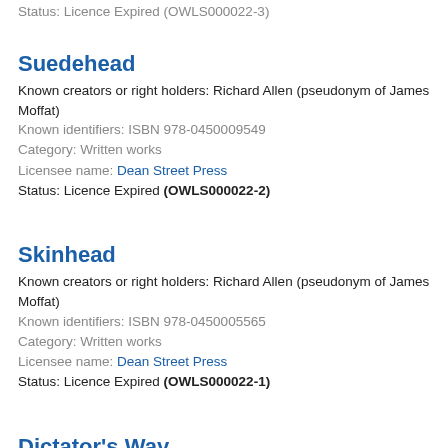Status: Licence Expired (OWLS000022-3)
Suedehead
Known creators or right holders: Richard Allen (pseudonym of James Moffat)
Known identifiers: ISBN 978-0450009549
Category: Written works
Licensee name: Dean Street Press
Status: Licence Expired (OWLS000022-2)
Skinhead
Known creators or right holders: Richard Allen (pseudonym of James Moffat)
Known identifiers: ISBN 978-0450005565
Category: Written works
Licensee name: Dean Street Press
Status: Licence Expired (OWLS000022-1)
Dictator's Way
Known creators or right holders: None
Known identifiers: None